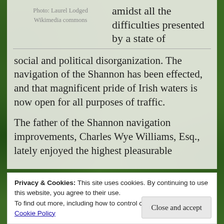Photo: Laurel Lodged
Wikimedia commons
amidst all the difficulties presented by a state of social and political disorganization. The navigation of the Shannon has been effected, and that magnificent pride of Irish waters is now open for all purposes of traffic.
The father of the Shannon navigation improvements, Charles Wye Williams, Esq., lately enjoyed the highest pleasurable
Privacy & Cookies: This site uses cookies. By continuing to use this website, you agree to their use.
To find out more, including how to control cookies, see here:
Cookie Policy
Close and accept